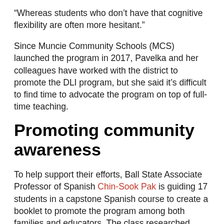“Whereas students who don’t have that cognitive flexibility are often more hesitant.”
Since Muncie Community Schools (MCS) launched the program in 2017, Pavelka and her colleagues have worked with the district to promote the DLI program, but she said it’s difficult to find time to advocate the program on top of full-time teaching.
Promoting community awareness
To help support their efforts, Ball State Associate Professor of Spanish Chin-Sook Pak is guiding 17 students in a capstone Spanish course to create a booklet to promote the program among both families and educators. The class researched, designed, and produced the booklet to showcase the benefits of the program in both Spanish and English. MCS will then...